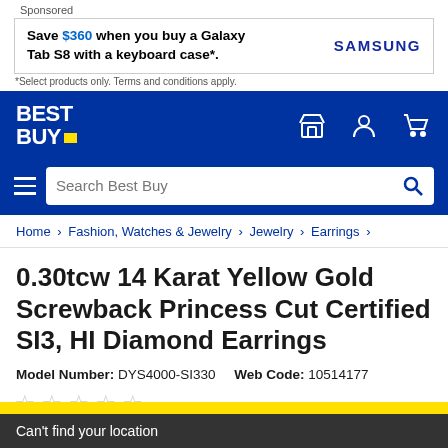Sponsored
[Figure (screenshot): Samsung advertisement banner: Save $360 when you buy a Galaxy Tab S8 with a keyboard case*. Samsung logo on right.]
*Select products only. Terms and conditions apply.
[Figure (logo): Best Buy logo in white on blue navigation bar with store, account, and cart icons]
Search Best Buy
Home > Fashion, Watches & Jewelry > Jewelry > Earrings >
0.30tcw 14 Karat Yellow Gold Screwback Princess Cut Certified SI3, HI Diamond Earrings
Model Number: DYS4000-SI330    Web Code: 10514177
☆ ☆ ☆ ☆ ☆
Can't find your location